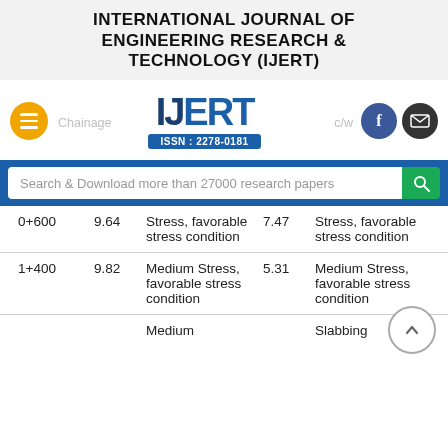INTERNATIONAL JOURNAL OF ENGINEERING RESEARCH & TECHNOLOGY (IJERT)
[Figure (logo): IJERT logo with ISSN: 2278-0181, hamburger menu button, Facebook and email social icons]
Search & Download more than 27000 research papers
| Chainage |  |  |  |  |
| --- | --- | --- | --- | --- |
| 0+600 | 9.64 | Stress, favorable stress condition | 7.47 | Stress, favorable stress condition |
| 1+400 | 9.82 | Medium Stress, favorable stress condition | 5.31 | Medium Stress, favorable stress condition |
|  |  | Medium |  | Slabbing |